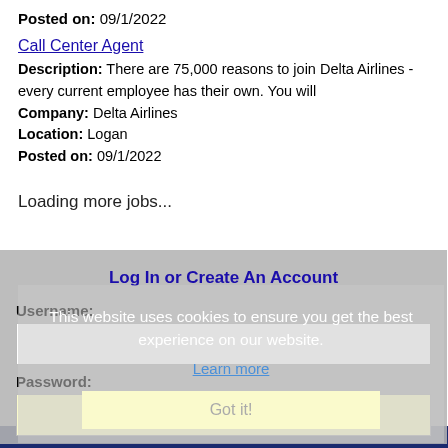Posted on: 09/1/2022
Call Center Agent
Description: There are 75,000 reasons to join Delta Airlines - every current employee has their own. You will
Company: Delta Airlines
Location: Logan
Posted on: 09/1/2022
Loading more jobs...
Log In or Create An Account
Username:
Password:
This website uses cookies to ensure you get the best experience on our website.
Learn more
Got it!